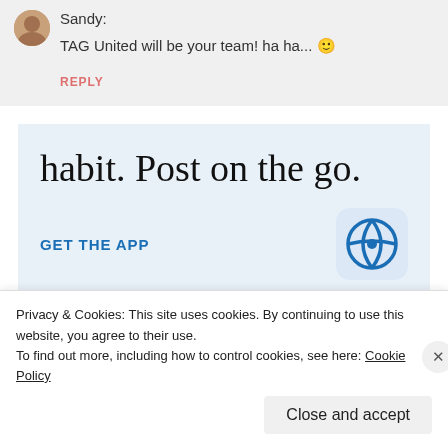Sandy:
TAG United will be your team! ha ha... 🙂
REPLY
habit. Post on the go.
GET THE APP
[Figure (logo): WordPress logo icon in a rounded blue square]
Privacy & Cookies: This site uses cookies. By continuing to use this website, you agree to their use.
To find out more, including how to control cookies, see here: Cookie Policy
Close and accept